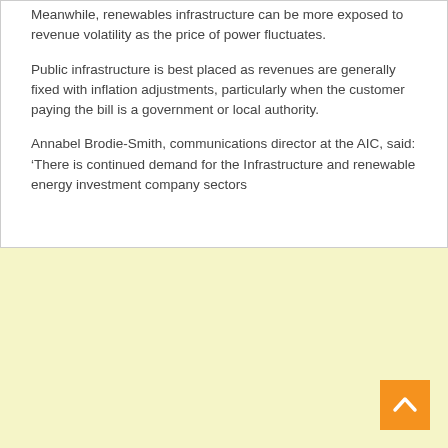Meanwhile, renewables infrastructure can be more exposed to revenue volatility as the price of power fluctuates.
Public infrastructure is best placed as revenues are generally fixed with inflation adjustments, particularly when the customer paying the bill is a government or local authority.
Annabel Brodie-Smith, communications director at the AIC, said: ‘There is continued demand for the Infrastructure and renewable energy investment company sectors
[Figure (other): Light yellow background section with an orange back-to-top arrow button in the bottom right corner]